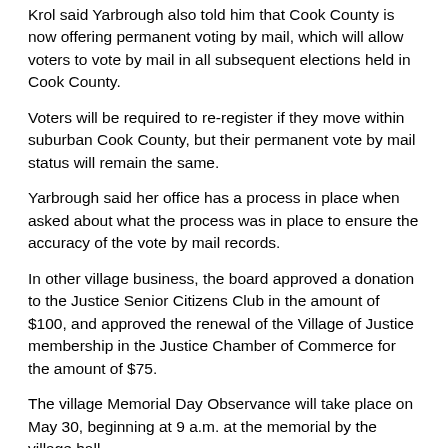Krol said Yarbrough also told him that Cook County is now offering permanent voting by mail, which will allow voters to vote by mail in all subsequent elections held in Cook County.
Voters will be required to re-register if they move within suburban Cook County, but their permanent vote by mail status will remain the same.
Yarbrough said her office has a process in place when asked about what the process was in place to ensure the accuracy of the vote by mail records.
In other village business, the board approved a donation to the Justice Senior Citizens Club in the amount of $100, and approved the renewal of the Village of Justice membership in the Justice Chamber of Commerce for the amount of $75.
The village Memorial Day Observance will take place on May 30, beginning at 9 a.m. at the memorial by the village hall.
Three business licenses were approved. One for a home occupation license for Fire Cuts Landscape LLC, operating a home office for a landscape/lawn care business at 8745 W. 72nd Street. A second, for a home occupation license for Kveta Trucking Inc., operating a home office for a transportation